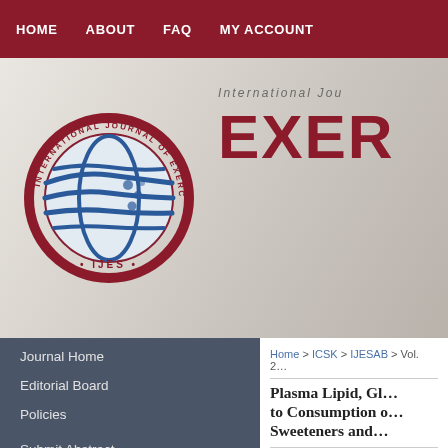HOME  ABOUT  FAQ  MY ACCOUNT
[Figure (logo): International Journal of Exercise Science circular logo with globe and text IJES]
International Journal of EXERCISE SCIENCE (banner text, partially visible)
Journal Home
Editorial Board
Policies
Submit Abstract
Most Popular Papers
Receive Custom Email Notices or RSS
Select an issue:
Home > ICSK > IJESAB > Vol. 2…
Plasma Lipid, Gl… to Consumption o… Sweeteners and…
Jarrett Walbolt, Baylor Univer… Yunsuk Koh
Abstract
Although nonnutritive sweeten… it is currently uncertain how the…